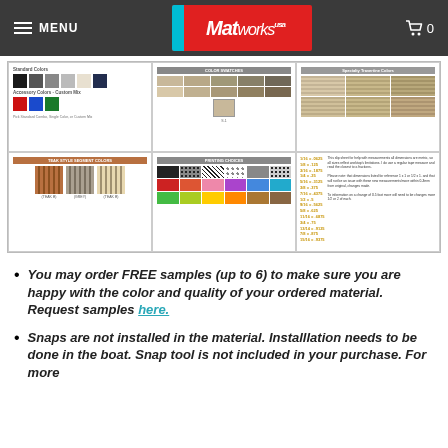MENU | Matworks | 0
[Figure (photo): Product color swatches grid showing marine mat color options, fabric choices, teak-style colors, printing choices, and a fraction conversion chart with notes.]
You may order FREE samples (up to 6) to make sure you are happy with the color and quality of your ordered material. Request samples here.
Snaps are not installed in the material. Installlation needs to be done in the boat. Snap tool is not included in your purchase. For more